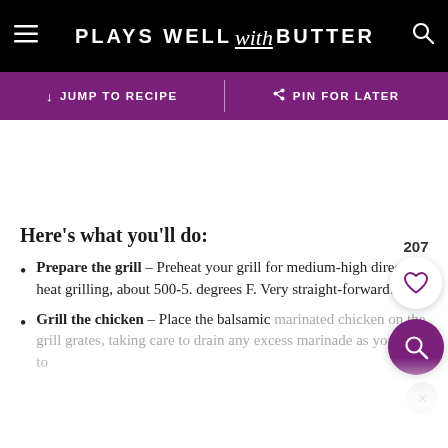PLAYS WELL with BUTTER
JUMP TO RECIPE | PIN FOR LATER
Here’s what you’ll do:
Prepare the grill – Preheat your grill for medium-high direct heat grilling, about 500-5. degrees F. Very straight-forward!
Grill the chicken – Place the balsamic marinated chicken on the grill grates, taking care to drain any excess marinade as you go to